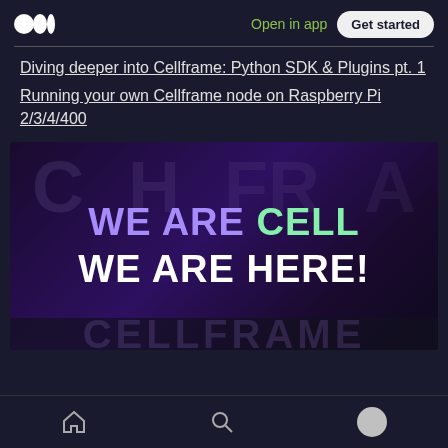Open in app  Get started
Diving deeper into Cellframe: Python SDK & Plugins pt. 1
Running your own Cellframe node on Raspberry Pi 2/3/4/400
[Figure (photo): Promotional image with text 'WE ARE CELL WE ARE HERE!' on a dark purple starry background with faint CELLFRAME letters behind]
Home  Search  Profile